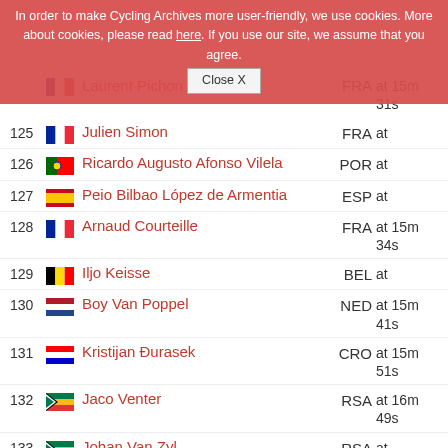In order to make Cycling Archives more user-friendly, we use cookies. More about cookies, please read here. If you use our site, we assume that you agree. Close X
124 Laurent Pichon FRA at 15m 31s
125 Julien Simon FRA at
126 Ricardo Augusto Afonso Vilela POR at
127 Peio Bilbao López de Armentia ESP at
128 Arnaud Courteille FRA at 15m 34s
129 Iljo Keisse BEL at
130 Boy Van Poppel NED at 15m 41s
131 Kristijan Đurasek CRO at 15m 51s
132 Jaco Venter RSA at 16m 49s
133 Johan Van Zyl RSA at
134 Natnael Teweldemedhin Berhane ERI at
135 Lorrenzo Manzin FRA at 16m 51s